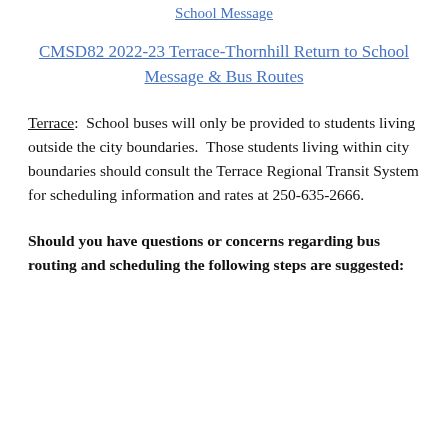School Message
CMSD82 2022-23 Terrace-Thornhill Return to School Message & Bus Routes
Terrace:  School buses will only be provided to students living outside the city boundaries.  Those students living within city boundaries should consult the Terrace Regional Transit System for scheduling information and rates at 250-635-2666.
Should you have questions or concerns regarding bus routing and scheduling the following steps are suggested: